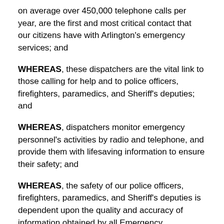on average over 450,000 telephone calls per year, are the first and most critical contact that our citizens have with Arlington's emergency services; and
WHEREAS, these dispatchers are the vital link to those calling for help and to police officers, firefighters, paramedics, and Sheriff's deputies; and
WHEREAS, dispatchers monitor emergency personnel's activities by radio and telephone, and provide them with lifesaving information to ensure their safety; and
WHEREAS, the safety of our police officers, firefighters, paramedics, and Sheriff's deputies is dependent upon the quality and accuracy of information obtained by all Emergency Communications Technicians from the citizens who telephone the Arlington County Emergency Communications Center; and
WHEREAS, the Public Safety Dispatchers of the Arlington